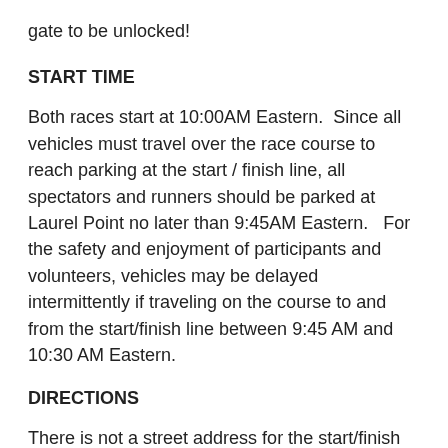gate to be unlocked!
START TIME
Both races start at 10:00AM Eastern.  Since all vehicles must travel over the race course to reach parking at the start / finish line, all spectators and runners should be parked at Laurel Point no later than 9:45AM Eastern.   For the safety and enjoyment of participants and volunteers, vehicles may be delayed intermittently if traveling on the course to and from the start/finish line between 9:45 AM and 10:30 AM Eastern.
DIRECTIONS
There is not a street address for the start/finish line.  For navigation, use 541 Browns Ferry Road (Chattanooga), turn onto Elder Mountain Road, and follow signs. The start line is approximately 12 miles from downtown